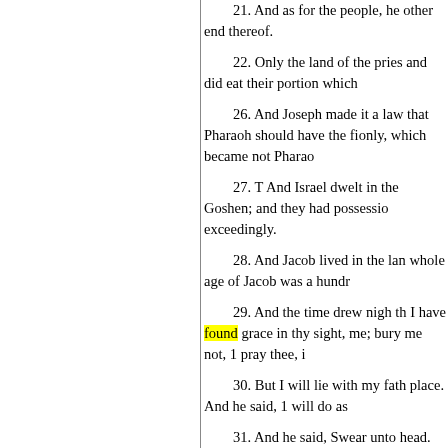21. And as for the people, he other end thereof.
22. Only the land of the pries and did eat their portion which
26. And Joseph made it a law that Pharaoh should have the fi only, which became not Pharao
27. T And Israel dwelt in the Goshen; and they had possessio exceedingly.
28. And Jacob lived in the lan whole age of Jacob was a hundr
29. And the time drew nigh th I have found grace in thy sight, me; bury me not, 1 pray thee, i
30. But I will lie with my fath place. And he said, 1 will do as
31. And he said, Swear unto head. CHAP. XLVIII.
1 Joseph with his sons visiteth